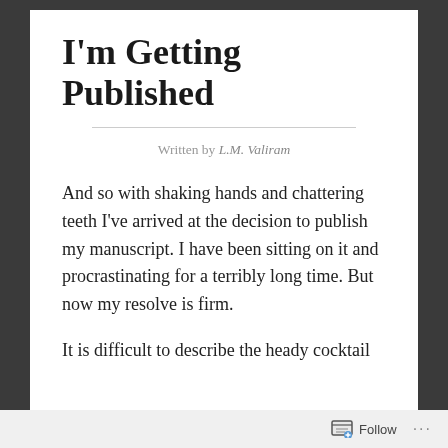I'm Getting Published
Written by L.M. Valiram
And so with shaking hands and chattering teeth I've arrived at the decision to publish my manuscript. I have been sitting on it and procrastinating for a terribly long time. But now my resolve is firm.
It is difficult to describe the heady cocktail
Follow ...